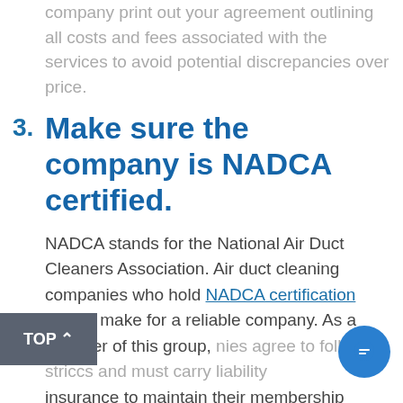company print out your agreement outlining all costs and fees associated with the services to avoid potential discrepancies over price.
3. Make sure the company is NADCA certified.
NADCA stands for the National Air Duct Cleaners Association. Air duct cleaning companies who hold NADCA certification should make for a reliable company. As a member of this group, companies agree to follow a strict ethics and must carry liability insurance to maintain their membership